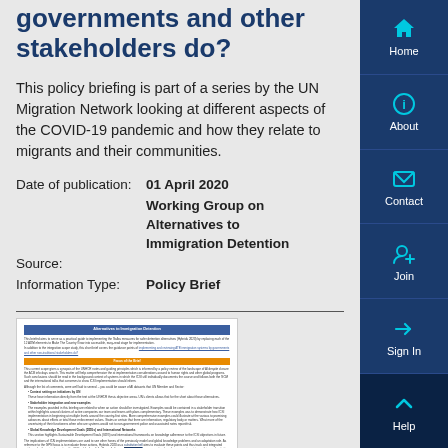governments and other stakeholders do?
This policy briefing is part of a series by the UN Migration Network looking at different aspects of the COVID-19 pandemic and how they relate to migrants and their communities.
Date of publication: 01 April 2020
Source: Working Group on Alternatives to Immigration Detention
Information Type: Policy Brief
[Figure (screenshot): Thumbnail of a policy brief document with blue header and orange section header, containing body text and bullet points.]